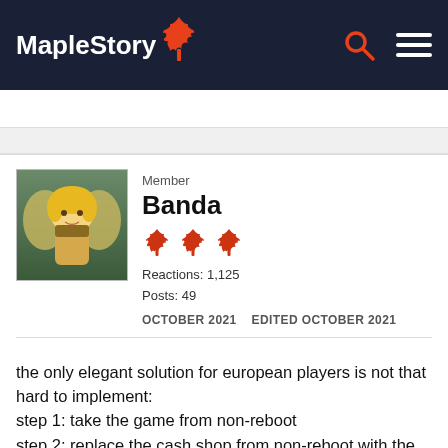MapleStory
Member
Banda
Reactions: 1,125
Posts: 49
OCTOBER 2021   EDITED OCTOBER 2021
the only elegant solution for european players is not that hard to implement:
step 1: take the game from non-reboot
step 2: replace the cash shop from non-reboot with the one from reboot
step 3: add untradeble items like permapets, frenzy totem, perma telerocks ..... to cash shop on a non-gambling base (what you see is what you get)
that should provide nexon enough income to make it worthwhile